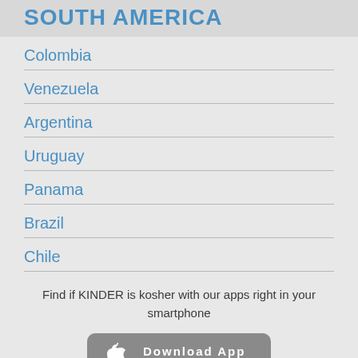SOUTH AMERICA
Colombia
Venezuela
Argentina
Uruguay
Panama
Brazil
Chile
Find if KINDER is kosher with our apps right in your smartphone
[Figure (other): Download App from App Store button with Apple logo]